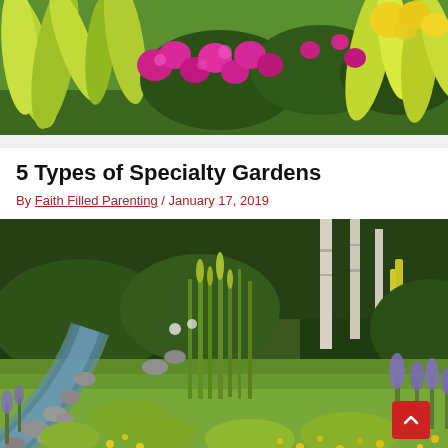[Figure (photo): Close-up photo of colorful garden with bright magenta/pink petunia flowers and large green-yellow striped tropical leaves (spider plants or similar), with yellow flowers visible in the background]
5 Types of Specialty Gardens
By Faith Filled Parenting / January 17, 2019
[Figure (photo): A lush naturalistic garden with a stepping-stone stream path lined with rocks, tall green reeds/horsetails in the center, low ground cover, purple lavender flowers on the right, yellow wildflowers, and birch trees in the background. A red scroll-to-top button is visible in the bottom-right corner.]